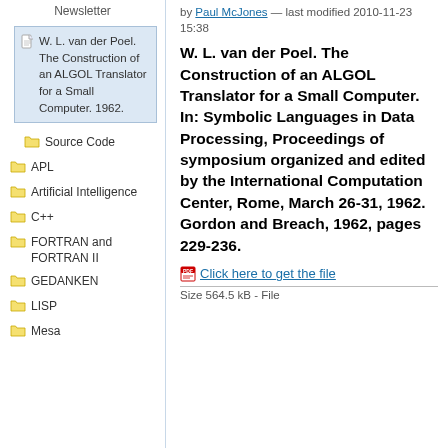Newsletter
W. L. van der Poel. The Construction of an ALGOL Translator for a Small Computer. 1962.
Source Code
APL
Artificial Intelligence
C++
FORTRAN and FORTRAN II
GEDANKEN
LISP
Mesa
by Paul McJones — last modified 2010-11-23 15:38
W. L. van der Poel. The Construction of an ALGOL Translator for a Small Computer. In: Symbolic Languages in Data Processing, Proceedings of symposium organized and edited by the International Computation Center, Rome, March 26-31, 1962. Gordon and Breach, 1962, pages 229-236.
Click here to get the file
Size 564.5 kB - File